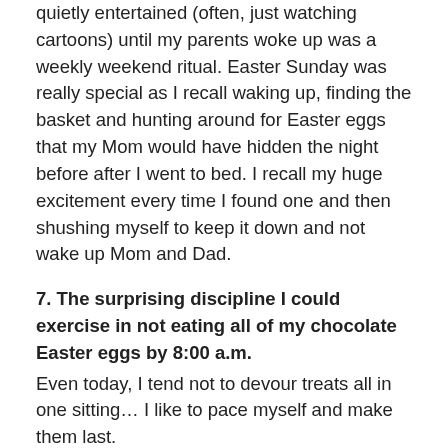quietly entertained (often, just watching cartoons) until my parents woke up was a weekly weekend ritual. Easter Sunday was really special as I recall waking up, finding the basket and hunting around for Easter eggs that my Mom would have hidden the night before after I went to bed. I recall my huge excitement every time I found one and then shushing myself to keep it down and not wake up Mom and Dad.
7. The surprising discipline I could exercise in not eating all of my chocolate Easter eggs by 8:00 a.m.
Even today, I tend not to devour treats all in one sitting… I like to pace myself and make them last.
6. Mom's leftover chocolates
When I was very young, my mother was a school teacher. For Easter she would buy enough little chocolate bunnies